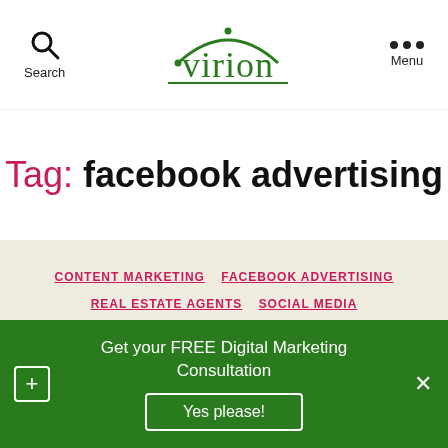Search | Virion | Menu
Tag: facebook advertising
CONTENT MARKETING
FACEBOOK ADVERTISING
REAL ESTATE AGENTS
SOCIAL MEDIA
Real estate agent's
Get your FREE Digital Marketing Consultation
Yes please!